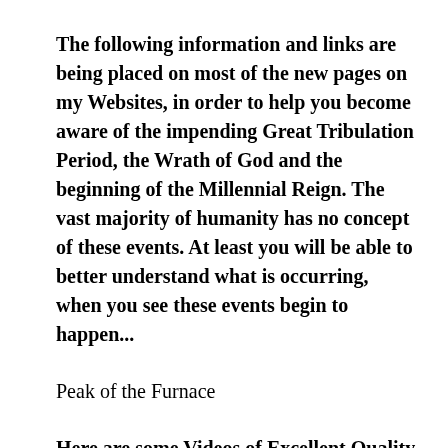The following information and links are being placed on most of the new pages on my Websites, in order to help you become aware of the impending Great Tribulation Period, the Wrath of God and the beginning of the Millennial Reign. The vast majority of humanity has no concept of these events. At least you will be able to better understand what is occurring, when you see these events begin to happen...
Peak of the Furnace
Here are some Videos of Excellent Quality regarding the Piton de la Fournaise Volcano,